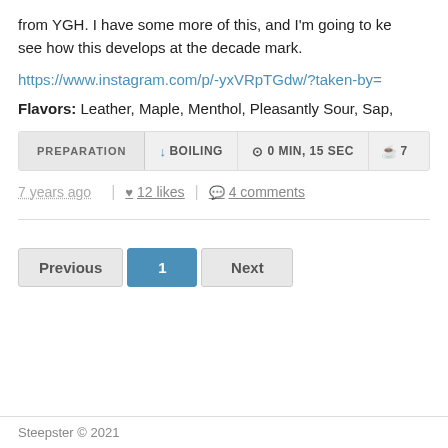from YGH. I have some more of this, and I'm going to ke see how this develops at the decade mark.
https://www.instagram.com/p/-yxVRpTGdw/?taken-by=
Flavors: Leather, Maple, Menthol, Pleasantly Sour, Sap,
PREPARATION  ↓ BOILING  ⊙ 0 MIN, 15 SEC  ☕7
7 years ago  |  ♥ 12 likes  |  💬 4 comments
Previous  1  Next
Steepster © 2021